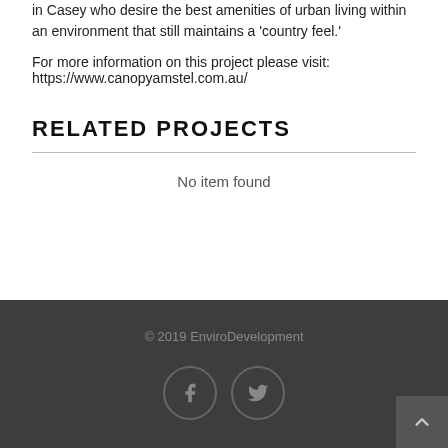in Casey who desire the best amenities of urban living within an environment that still maintains a 'country feel.'
For more information on this project please visit:
https://www.canopyamstel.com.au/
RELATED PROJECTS
No item found
© 2019 EnviroDevelopment